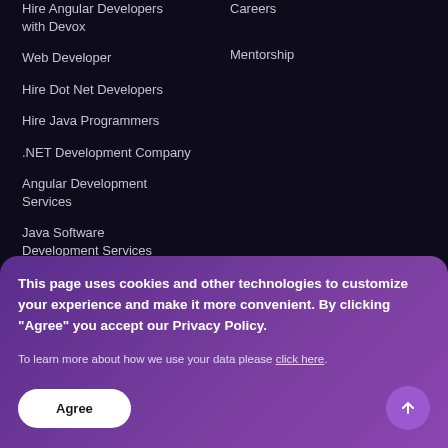Hire Angular Developers with Devox
Careers
Mentorship
Web Developer
Hire Dot Net Developers
Hire Java Programmers
.NET Development Company
Angular Development Services
Java Software Development Services
This page uses cookies and other technologies to customize your experience and make it more convenient. By clicking "Agree" you accept our Privacy Policy.
To learn more about how we use your data please click here.